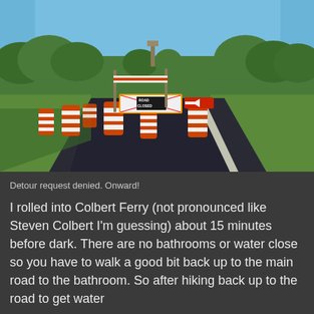[Figure (photo): A road closed scene with orange and white striped construction barrels blocking a paved road. A 'ROAD CLOSED' sign and a red arrow sign are visible among the barrels. Green grass fields and trees line the road under a clear blue sky. Long shadows indicate late afternoon light.]
Detour request denied. Onward!
I rolled into Colbert Ferry (not pronounced like Steven Colbert I'm guessing) about 15 minutes before dark. There are no bathrooms or water close so you have to walk a good bit back up to the main road to the bathroom. So after hiking back up to the road to get water